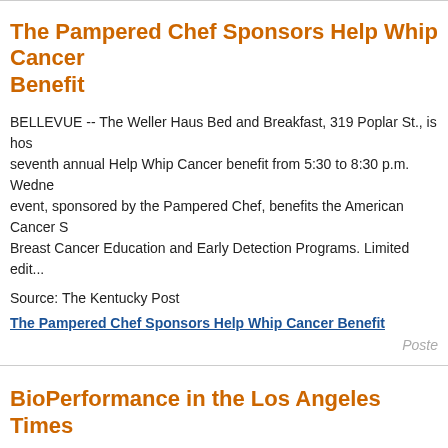The Pampered Chef Sponsors Help Whip Cancer Benefit
BELLEVUE -- The Weller Haus Bed and Breakfast, 319 Poplar St., is hosting its seventh annual Help Whip Cancer benefit from 5:30 to 8:30 p.m. Wednesday. The event, sponsored by the Pampered Chef, benefits the American Cancer Society's Breast Cancer Education and Early Detection Programs. Limited edit...
Source: The Kentucky Post
The Pampered Chef Sponsors Help Whip Cancer Benefit
Poste
BioPerformance in the Los Angeles Times
The Los Angeles Times ran a new article on May 15th about mileage boosting products and emission claims:
As Pump Prices Rise, So Do Iffy Ways to Boost Mileage Drop a pill in your tank for better fuel efficiency? Yeah, right, auto experts say.
By Michelle Keller, Times Staff Writer May 15,...